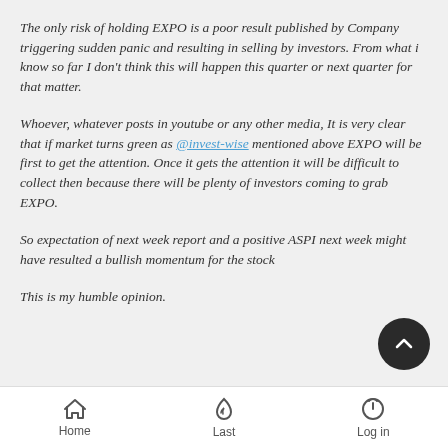The only risk of holding EXPO is a poor result published by Company triggering sudden panic and resulting in selling by investors. From what i know so far I don't think this will happen this quarter or next quarter for that matter.
Whoever, whatever posts in youtube or any other media, It is very clear that if market turns green as @invest-wise mentioned above EXPO will be first to get the attention. Once it gets the attention it will be difficult to collect then because there will be plenty of investors coming to grab EXPO.
So expectation of next week report and a positive ASPI next week might have resulted a bullish momentum for the stock
This is my humble opinion.
Home  Last  Log in